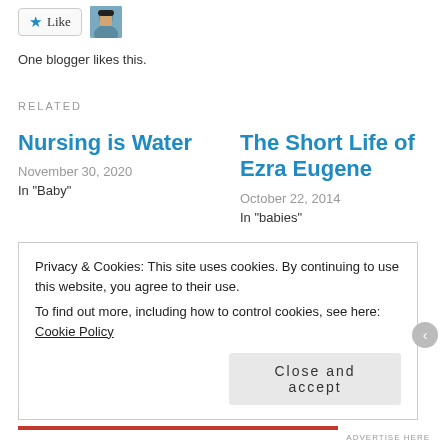[Figure (other): Like button with star icon and user avatar thumbnail]
One blogger likes this.
RELATED
Nursing is Water
November 30, 2020
In "Baby"
The Short Life of Ezra Eugene
October 22, 2014
In "babies"
The Day Mamitas Weaned
August 7, 2016
In "Baby"
Privacy & Cookies: This site uses cookies. By continuing to use this website, you agree to their use.
To find out more, including how to control cookies, see here: Cookie Policy
Close and accept